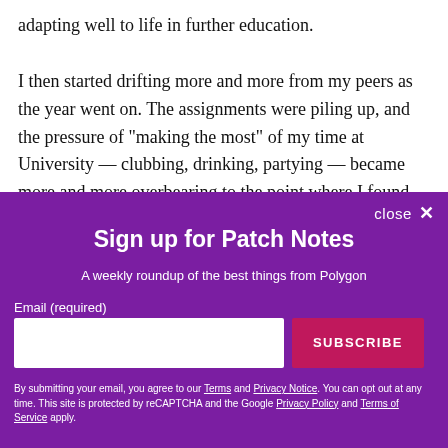adapting well to life in further education. I then started drifting more and more from my peers as the year went on. The assignments were piling up, and the pressure of "making the most" of my time at University — clubbing, drinking, partying — became more and more overbearing to the point where I found
close ✕
Sign up for Patch Notes
A weekly roundup of the best things from Polygon
Email (required)
SUBSCRIBE
By submitting your email, you agree to our Terms and Privacy Notice. You can opt out at any time. This site is protected by reCAPTCHA and the Google Privacy Policy and Terms of Service apply.